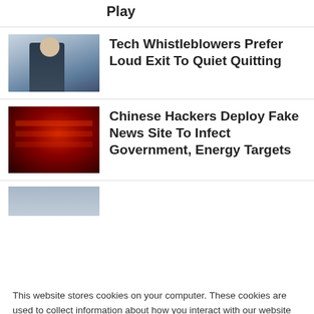Play
[Figure (photo): Thumbnail image of person in business attire]
Tech Whistleblowers Prefer Loud Exit To Quiet Quitting
[Figure (photo): Dark red thumbnail image, server/hacker theme]
Chinese Hackers Deploy Fake News Site To Infect Government, Energy Targets
[Figure (photo): Partial thumbnail image at bottom]
This website stores cookies on your computer. These cookies are used to collect information about how you interact with our website and allow us to remember you. We use this information in order to improve and customize your browsing experience and for analytics and metrics about our visitors both on this website and other media. To find out more about the cookies we use, see our Privacy Policy. California residents have the right to direct us not to sell their personal information to third parties by filing an Opt-Out Request: Do Not Sell My Personal Info.